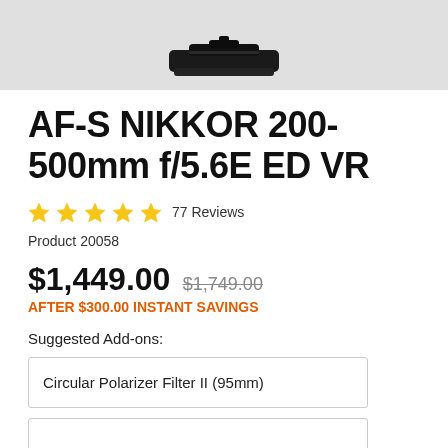[Figure (photo): Partial view of a Nikon lens (AF-S NIKKOR 200-500mm) on a gray background, showing mainly the top portion of the lens in black.]
AF-S NIKKOR 200-500mm f/5.6E ED VR
★★★★★ 77 Reviews
Product 20058
$1,449.00  $1,749.00
AFTER $300.00 INSTANT SAVINGS
Suggested Add-ons:
Circular Polarizer Filter II (95mm)